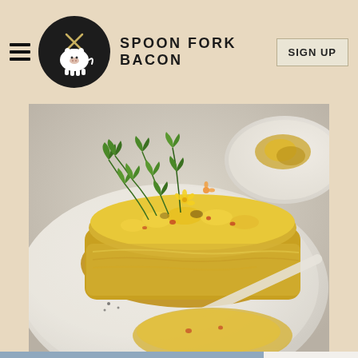SPOON FORK BACON
[Figure (photo): Close-up food photo: a serving of cheesy corn and crab casserole topped with fresh arugula and edible flowers on a white plate, with another plate visible in background. Taken on a light grey surface.]
[Figure (photo): Bottom advertisement: left side shows dark blue-grey background with text 'WE FOCUS ON VACCINES' and a person in medical scrubs. Right side shows Novavax advertisement with logo and orange 'LEARN MORE' button.]